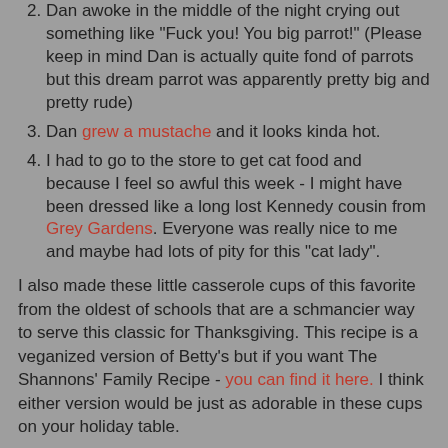2. Dan awoke in the middle of the night crying out something like "Fuck you! You big parrot!" (Please keep in mind Dan is actually quite fond of parrots but this dream parrot was apparently pretty big and pretty rude)
3. Dan grew a mustache and it looks kinda hot.
4. I had to go to the store to get cat food and because I feel so awful this week - I might have been dressed like a long lost Kennedy cousin from Grey Gardens. Everyone was really nice to me and maybe had lots of pity for this "cat lady".
I also made these little casserole cups of this favorite from the oldest of schools that are a schmancier way to serve this classic for Thanksgiving. This recipe is a veganized version of Betty's but if you want The Shannons' Family Recipe - you can find it here. I think either version would be just as adorable in these cups on your holiday table.
Macaroni & Sheese Cups
2 Cups Elbow Macaroni